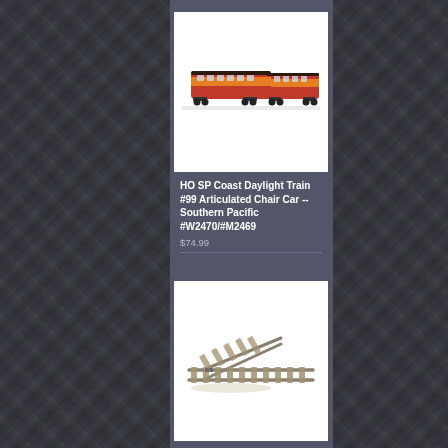[Figure (photo): Model train - HO SP Coast Daylight articulated passenger cars in red and orange livery, Southern Pacific]
HO SP Coast Daylight Train #99 Articulated Chair Car -- Southern Pacific #W2470/#M2469
$74.99
[Figure (photo): Model railroad track switch/turnout piece, diagonal orientation, HO scale]